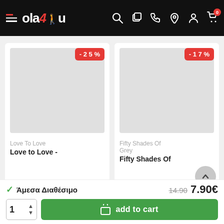ola4u - navigation header
[Figure (screenshot): Product card: Love To Love with -25% discount badge and grey placeholder image]
Love To Love
Love to Love -
[Figure (screenshot): Product card: Fifty Shades Of Grey with -17% discount badge and grey placeholder image]
Fifty Shades Of Grey
Fifty Shades Of
✓ Άμεσα Διαθέσιμο
14.90  7.90€
1  add to cart